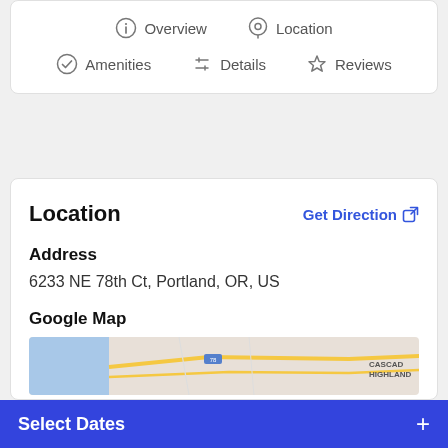[Figure (screenshot): Navigation tab bar with icons: Overview (info icon), Location (pin icon), Amenities (checkmark icon), Details (sliders icon), Reviews (star icon)]
Location
Get Direction
Address
6233 NE 78th Ct, Portland, OR, US
Google Map
[Figure (map): Google Map preview showing Portland, OR area with roads and Cascade label visible]
Select Dates +